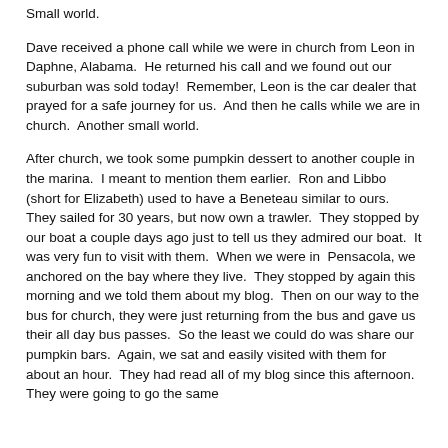Small world.
Dave received a phone call while we were in church from Leon in Daphne, Alabama.  He returned his call and we found out our suburban was sold today!  Remember, Leon is the car dealer that prayed for a safe journey for us.  And then he calls while we are in church.  Another small world.
After church, we took some pumpkin dessert to another couple in the marina.  I meant to mention them earlier.  Ron and Libbo (short for Elizabeth) used to have a Beneteau similar to ours.  They sailed for 30 years, but now own a trawler.  They stopped by our boat a couple days ago just to tell us they admired our boat.  It was very fun to visit with them.  When we were in  Pensacola, we anchored on the bay where they live.  They stopped by again this morning and we told them about my blog.  Then on our way to the bus for church, they were just returning from the bus and gave us their all day bus passes.  So the least we could do was share our pumpkin bars.  Again, we sat and easily visited with them for about an hour.  They had read all of my blog since this afternoon.  They were going to go the same